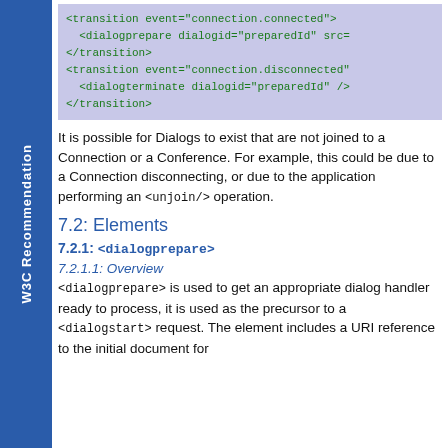[Figure (other): Code block showing XML transition elements with connection.connected and connection.disconnected events, dialogprepare and dialogterminate elements]
It is possible for Dialogs to exist that are not joined to a Connection or a Conference. For example, this could be due to a Connection disconnecting, or due to the application performing an <unjoin/> operation.
7.2: Elements
7.2.1: <dialogprepare>
7.2.1.1: Overview
<dialogprepare> is used to get an appropriate dialog handler ready to process, it is used as the precursor to a <dialogstart> request. The element includes a URI reference to the initial document for